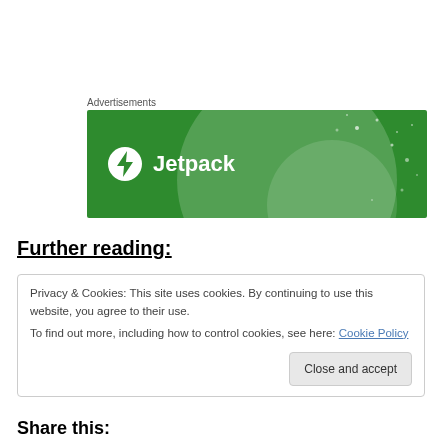Advertisements
[Figure (illustration): Jetpack advertisement banner: green background with large semi-transparent circle overlay and small dots/stars, white Jetpack logo (lightning bolt in circle) and bold white text 'Jetpack']
Further reading:
Privacy & Cookies: This site uses cookies. By continuing to use this website, you agree to their use.
To find out more, including how to control cookies, see here: Cookie Policy
[Close and accept button]
Share this: